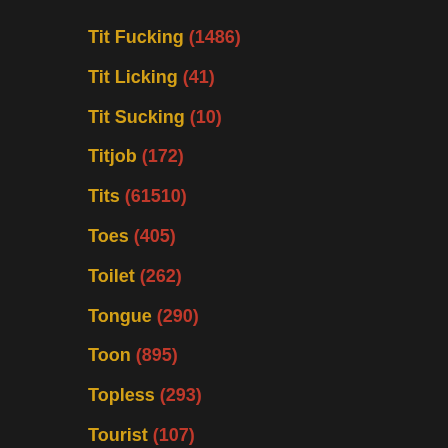Tit Fucking (1486)
Tit Licking (41)
Tit Sucking (10)
Titjob (172)
Tits (61510)
Toes (405)
Toilet (262)
Tongue (290)
Toon (895)
Topless (293)
Tourist (107)
Toys (11567)
Trailer Girl (1)
Train (204)
Trampling (47)